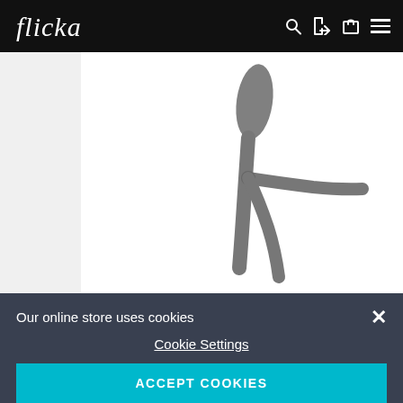flicka — navigation bar with logo, search, login, cart, and menu icons
[Figure (photo): Product image showing a partial view of glasses/eyewear frames in gray on a white background, showing the nose bridge and temple arm detail]
Our online store uses cookies
Cookie Settings
ACCEPT COOKIES